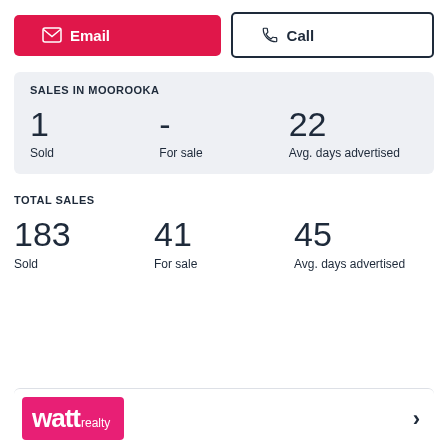[Figure (other): Email button (red/pink) with envelope icon and Call button (white with border) with phone icon]
SALES IN MOOROOKA
1
Sold
-
For sale
22
Avg. days advertised
TOTAL SALES
183
Sold
41
For sale
45
Avg. days advertised
[Figure (logo): Watt Realty logo — pink rectangle with white text 'watt realty']